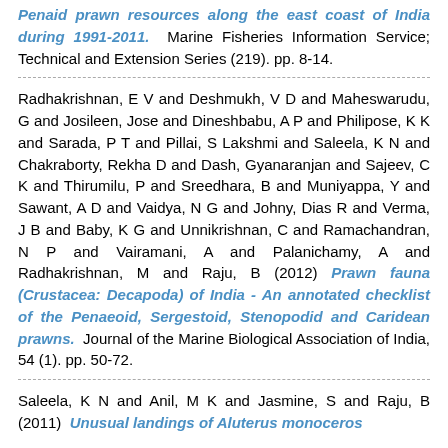Penaid prawn resources along the east coast of India during 1991-2011. Marine Fisheries Information Service; Technical and Extension Series (219). pp. 8-14.
Radhakrishnan, E V and Deshmukh, V D and Maheswarudu, G and Josileen, Jose and Dineshbabu, A P and Philipose, K K and Sarada, P T and Pillai, S Lakshmi and Saleela, K N and Chakraborty, Rekha D and Dash, Gyanaranjan and Sajeev, C K and Thirumilu, P and Sreedhara, B and Muniyappa, Y and Sawant, A D and Vaidya, N G and Johny, Dias R and Verma, J B and Baby, K G and Unnikrishnan, C and Ramachandran, N P and Vairamani, A and Palanichamy, A and Radhakrishnan, M and Raju, B (2012) Prawn fauna (Crustacea: Decapoda) of India - An annotated checklist of the Penaeoid, Sergestoid, Stenopodid and Caridean prawns. Journal of the Marine Biological Association of India, 54 (1). pp. 50-72.
Saleela, K N and Anil, M K and Jasmine, S and Raju, B (2011) Unusual landings of Aluterus monoceros